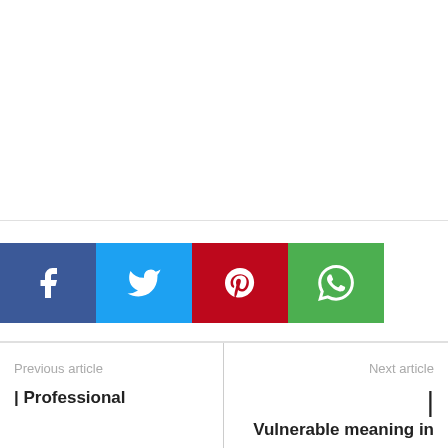[Figure (infographic): Social media share buttons: Facebook (blue), Twitter (light blue), Pinterest (red), WhatsApp (green), each with respective icons]
Previous article
| Professional
Next article
Vulnerable meaning in